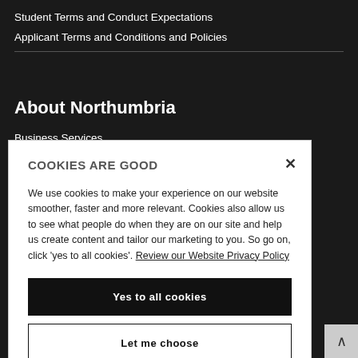Student Terms and Conduct Expectations
Applicant Terms and Conditions and Policies
About Northumbria
Business Services
COOKIES ARE GOOD
We use cookies to make your experience on our website smoother, faster and more relevant. Cookies also allow us to see what people do when they are on our site and help us create content and tailor our marketing to you. So go on, click ‘yes to all cookies’. Review our Website Privacy Policy
Yes to all cookies
Let me choose
Industrial Action